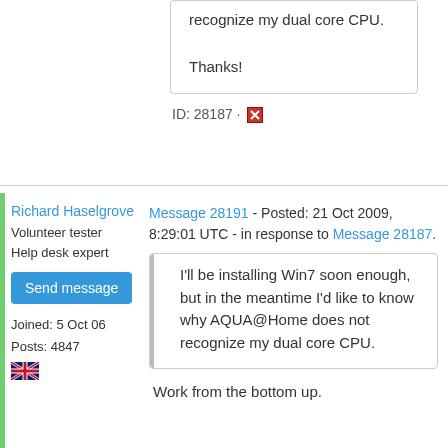recognize my dual core CPU.

Thanks!
ID: 28187 · [report icon]
Richard Haselgrove
Volunteer tester
Help desk expert
Send message
Joined: 5 Oct 06
Posts: 4847
Message 28191 - Posted: 21 Oct 2009, 8:29:01 UTC - in response to Message 28187.
I'll be installing Win7 soon enough, but in the meantime I'd like to know why AQUA@Home does not recognize my dual core CPU.
Work from the bottom up.